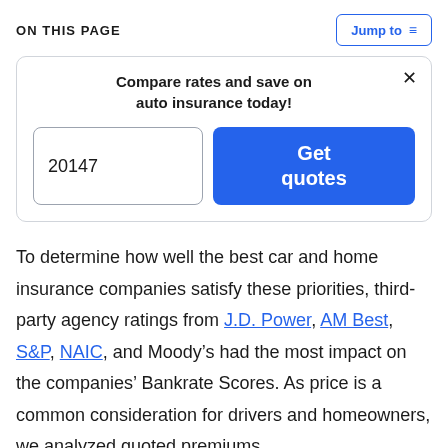ON THIS PAGE
Jump to
Compare rates and save on auto insurance today!
20147
Get quotes
To determine how well the best car and home insurance companies satisfy these priorities, third-party agency ratings from J.D. Power, AM Best, S&P, NAIC, and Moody’s had the most impact on the companies’ Bankrate Scores. As price is a common consideration for drivers and homeowners, we analyzed quoted premiums